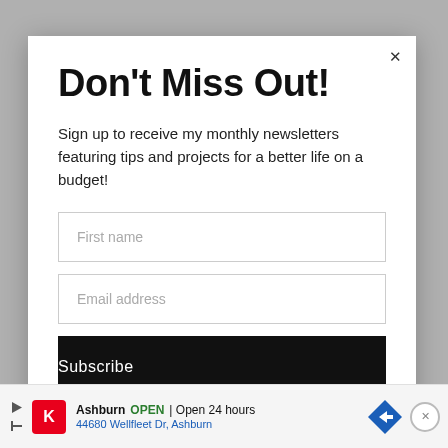Don't Miss Out!
Sign up to receive my monthly newsletters featuring tips and projects for a better life on a budget!
First name
Email address
Subscribe
Ashburn  OPEN | Open 24 hours  44680 Wellfleet Dr, Ashburn